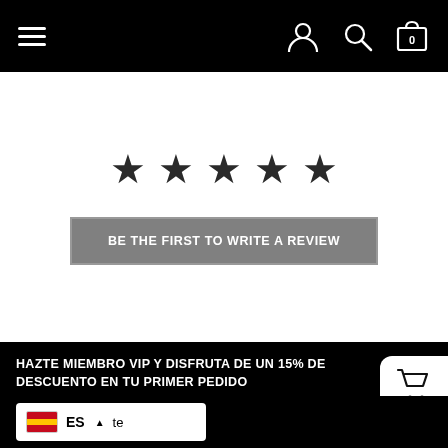[Figure (screenshot): Top navigation bar with hamburger menu icon on left and user account, search, and shopping bag icons on right, on black background]
[Figure (other): Five dark star rating icons for product review]
BE THE FIRST TO WRITE A REVIEW
HAZTE MIEMBRO VIP Y DISFRUTA DE UN 15% DE DESCUENTO EN TU PRIMER PEDIDO
Dirección de correo electrónico
[Figure (other): White shopping cart icon button on black background]
[Figure (other): Language selector showing Spanish flag with ES label and dropdown arrow]